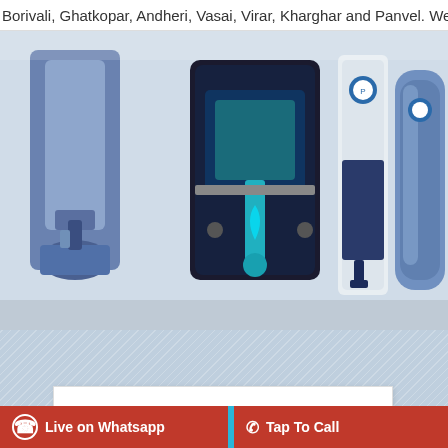Borivali, Ghatkopar, Andheri, Vasai, Virar, Kharghar and Panvel. We Al
[Figure (photo): Product showcase strip showing multiple Pureit RO water purifier models in white, blue/black color schemes against a light background.]
Pureit RO
Occasionally circumstances occur in which toil & pain can procue him some great pleasure. To take a trivial example.
Read More
Live on Whatsapp   Tap To Call